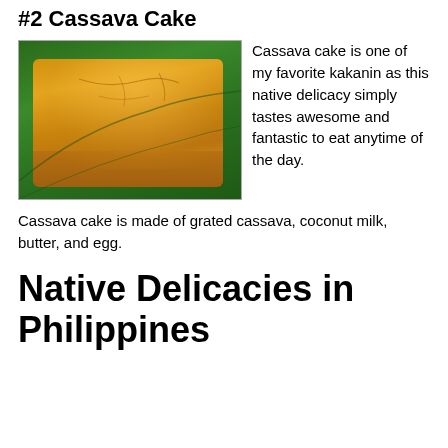#2 Cassava Cake
[Figure (photo): A golden-brown piece of cassava cake on a green banana leaf. The cake has a caramelized top surface with a glossy, amber-colored glaze.]
Cassava cake is one of my favorite kakanin as this native delicacy simply tastes awesome and fantastic to eat anytime of the day.
Cassava cake is made of grated cassava, coconut milk, butter, and egg.
Native Delicacies in Philippines